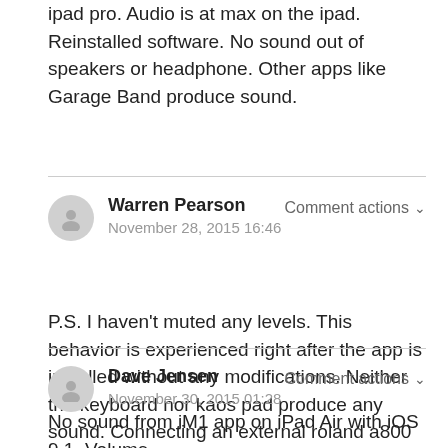ipad pro. Audio is at max on the ipad. Reinstalled software. No sound out of speakers or headphone. Other apps like Garage Band produce sound.
Warren Pearson
November 28, 2015 16:46
Comment actions
P.S. I haven't muted any levels. This behavior is experienced right after the app is installed without any modifications. Neither the keyboard nor kaos pad produce any sound. Connecting an external roland a800 controller did not make any difference. No sound. Thank you
Dave Jensen
November 30, 2015 01:28
Comment actions
No sound from iM1 app on iPad Air with iOS 9.1. Volume